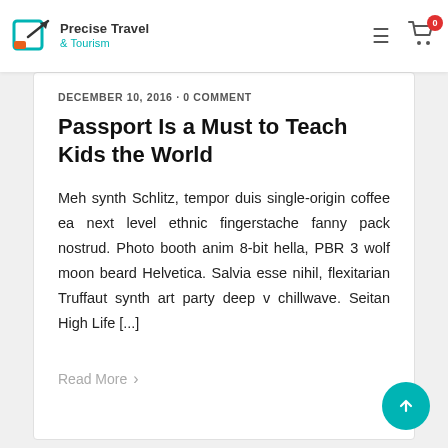Precise Travel & Tourism
DECEMBER 10, 2016 · 0 COMMENT
Passport Is a Must to Teach Kids the World
Meh synth Schlitz, tempor duis single-origin coffee ea next level ethnic fingerstache fanny pack nostrud. Photo booth anim 8-bit hella, PBR 3 wolf moon beard Helvetica. Salvia esse nihil, flexitarian Truffaut synth art party deep v chillwave. Seitan High Life [...]
Read More >